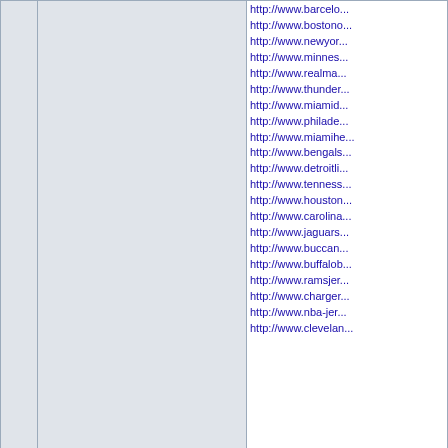|  | User | Links/Content |
| --- | --- | --- |
|  |  | http://www.barcelo...
http://www.bostono...
http://www.newyor...
http://www.minnes...
http://www.realma...
http://www.thunder...
http://www.miamid...
http://www.philade...
http://www.miamihe...
http://www.bengals...
http://www.detroitli...
http://www.tenness...
http://www.houston...
http://www.carolina...
http://www.jaguars...
http://www.buccan...
http://www.buffalob...
http://www.ramsjer...
http://www.charger...
http://www.nba-jer...
http://www.clevelan... |
|  | 28.04.2016 05:45 | profil |
|  | rboutlet1
Пользователь
Дата присоединения: 24.03.2016
Комментарии: 6 | http://www.uggbo...
http://www.ultraboo...
http://www.outletto...
http://www.cheap-...
http://www.rayban-...
http://www.oakleyc...
http://www.longcha...
http://www.yeezy.c...
http://www.kedssh...
http://www.nikeout...
http://www.jordan4...
http://www.nikehua...
http://www.adidaer... |